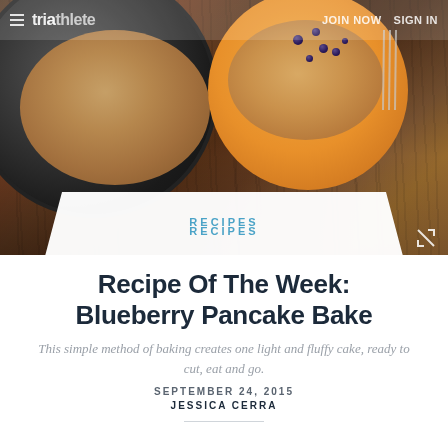[Figure (photo): Hero photo of blueberry pancakes on a wooden table, showing a dark cast iron pan with a pancake on the left and an orange plate with a pancake slice topped with blueberries on the right, with a fork. Website header overlay shows hamburger menu, triathlete logo, JOIN NOW and SIGN IN navigation links.]
RECIPES
Recipe Of The Week: Blueberry Pancake Bake
This simple method of baking creates one light and fluffy cake, ready to cut, eat and go.
SEPTEMBER 24, 2015
JESSICA CERRA